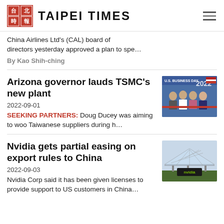TAIPEI TIMES
China Airlines Ltd's (CAL) board of directors yesterday approved a plan to spe…
By Kao Shih-ching
Arizona governor lauds TSMC's new plant
2022-09-01
SEEKING PARTNERS: Doug Ducey was aiming to woo Taiwanese suppliers during h…
[Figure (photo): Photo of people at U.S. Business Day 2022 event, several people wearing masks giving thumbs up]
Nvidia gets partial easing on export rules to China
2022-09-03
Nvidia Corp said it has been given licenses to provide support to US customers in China…
[Figure (photo): Photo of Nvidia building or structure with solar panels overhead]